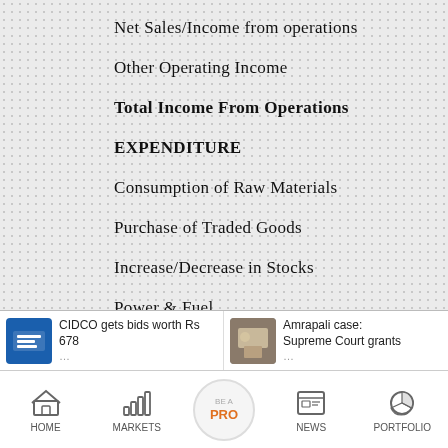Net Sales/Income from operations
Other Operating Income
Total Income From Operations
EXPENDITURE
Consumption of Raw Materials
Purchase of Traded Goods
Increase/Decrease in Stocks
Power & Fuel
Employees Cost
Depreciation
Excise Duty
CIDCO gets bids worth Rs 678...
Amrapali case: Supreme Court grants...
HOME  MARKETS  BE A PRO  NEWS  PORTFOLIO